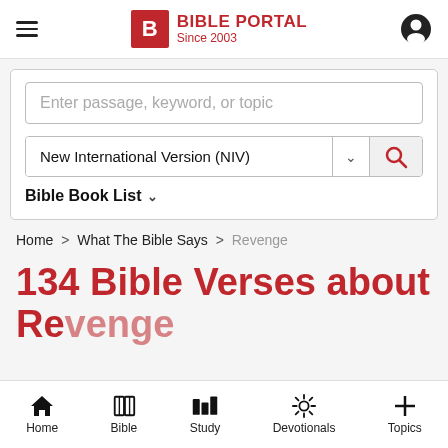BIBLE PORTAL Since 2003
[Figure (screenshot): Search input box with placeholder text 'Enter passage, keyword, or topic']
[Figure (screenshot): Bible version selector showing 'New International Version (NIV)' with dropdown arrow and search button]
Bible Book List
Home > What The Bible Says > Revenge
134 Bible Verses about Revenge
Home  Bible  Study  Devotionals  Topics